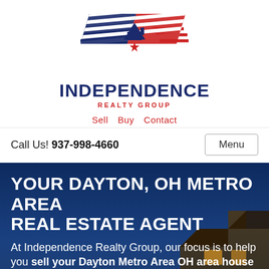[Figure (logo): Independence Realty Group logo: stylized American flag with house silhouette and red star, rendered in navy blue and red diagonal stripes]
INDEPENDENCE
REALTY GROUP
Sell  Buy  Contact
Call Us! 937-998-4660
Menu
[Figure (photo): Night/dusk photo of a house with warm interior lights against a dark blue sky, partially visible behind blue overlay]
YOUR DAYTON, OH METRO AREA REAL ESTATE AGENT
At Independence Realty Group, our focus is to help you sell your Dayton Metro Area OH area house faster, for